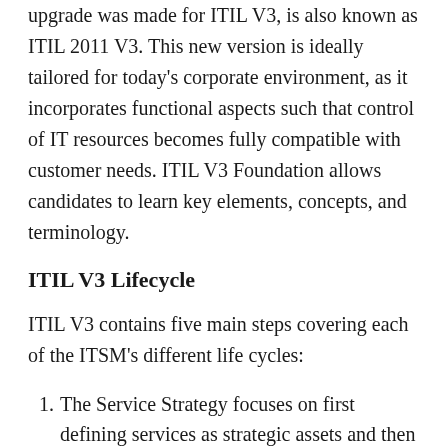upgrade was made for ITIL V3, is also known as ITIL 2011 V3. This new version is ideally tailored for today's corporate environment, as it incorporates functional aspects such that control of IT resources becomes fully compatible with customer needs. ITIL V3 Foundation allows candidates to learn key elements, concepts, and terminology.
ITIL V3 Lifecycle
ITIL V3 contains five main steps covering each of the ITSM's different life cycles:
The Service Strategy focuses on first defining services as strategic assets and then creating a systematic strategy.
Service Design involves the assessment of business